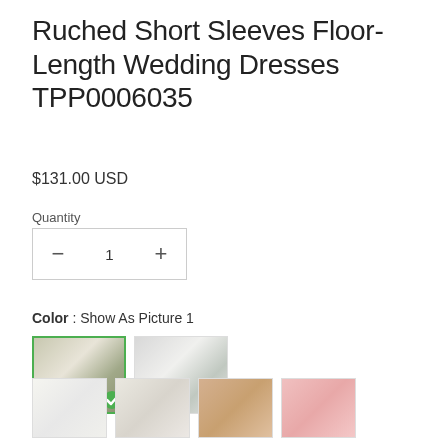Ruched Short Sleeves Floor-Length Wedding Dresses TPP0006035
$131.00 USD
Quantity
Color : Show As Picture 1
[Figure (photo): Two wedding dress product photos: first image selected (green border with checkmark), showing a woman in a white floor-length ruched wedding dress with short sleeves outdoors; second image showing back view of the same style dress]
[Figure (photo): Four fabric swatch thumbnails: white/ivory fabric, off-white fabric, champagne/tan fabric, pink fabric]